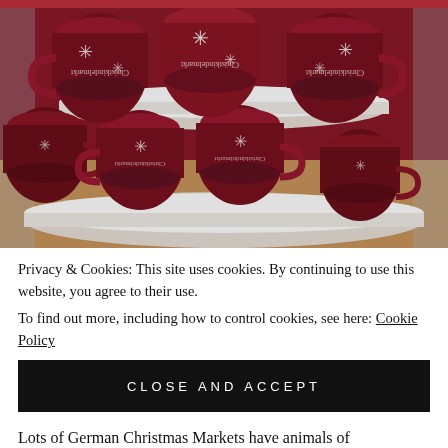[Figure (photo): Stack of deep burgundy/maroon Christmas market mugs (Glühwein mugs) with white snowflake designs and 'Christkindelmarkt' text, arranged on circular trays in two tiers. The mugs appear to be reflected/mirrored in the image. Photographed from close up at a German Christmas market.]
Privacy & Cookies: This site uses cookies. By continuing to use this website, you agree to their use.
To find out more, including how to control cookies, see here: Cookie Policy
CLOSE AND ACCEPT
Lots of German Christmas Markets have animals of